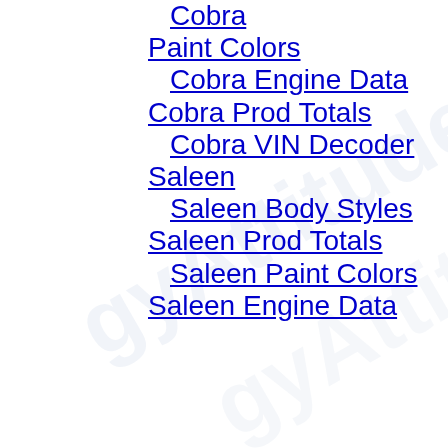Cobra
Paint Colors
Cobra Engine Data
Cobra Prod Totals
Cobra VIN Decoder
Saleen
Saleen Body Styles
Saleen Prod Totals
Saleen Paint Colors
Saleen Engine Data